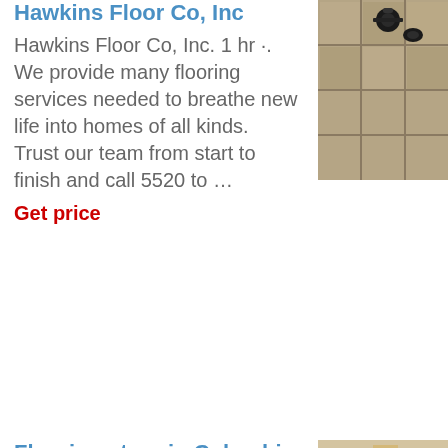Hawkins Floor Co, Inc
Hawkins Floor Co, Inc. 1 hr ·. We provide many flooring services needed to breathe new life into homes of all kinds. Trust our team from start to finish and call 5520 to …
Get price
[Figure (photo): Overhead view of floor tiles with tools/hardware]
Flooring store in Columbia
[Figure (photo): Flooring store interior with wood flooring samples]